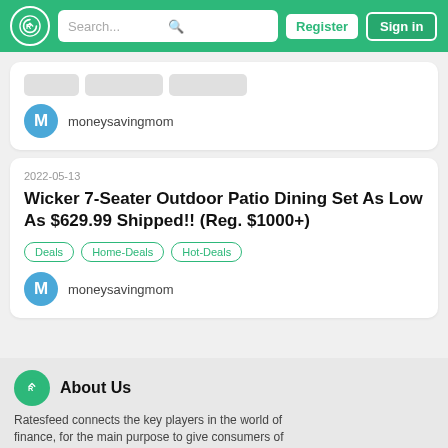Search... Register Sign in
moneysavingmom
2022-05-13
Wicker 7-Seater Outdoor Patio Dining Set As Low As $629.99 Shipped!! (Reg. $1000+)
Deals
Home-Deals
Hot-Deals
moneysavingmom
About Us
Ratesfeed connects the key players in the world of finance, for the main purpose to give consumers of